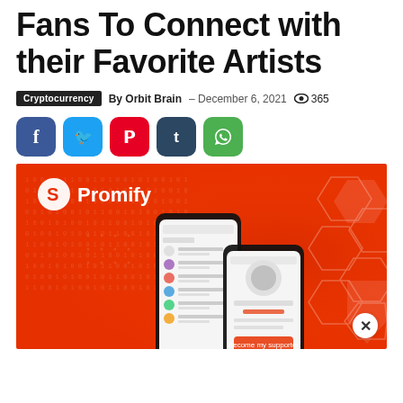Fans To Connect with their Favorite Artists
Cryptocurrency  By Orbit Brain – December 6, 2021  365
[Figure (other): Social share buttons: Facebook (blue), Twitter (cyan), Pinterest (red), Tumblr (dark navy), WhatsApp (green)]
[Figure (photo): Promify app promotional banner on orange/red background with binary code pattern and hexagon shapes, showing two smartphones with the Promify app interface. Promify logo (white swirl) and name visible top left.]